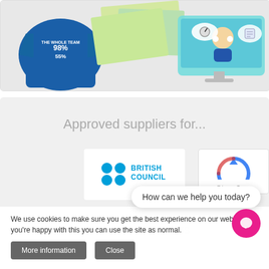[Figure (photo): Collage of promotional/infographic items including a blue sports jersey with statistics (98%, 55%), printed materials, and a monitor showing an animated customer service scene]
Approved suppliers for...
[Figure (logo): British Council logo with four blue dots and BRITISH COUNCIL text in blue]
Learn more about us
How can we help you today?
We use cookies to make sure you get the best experience on our website. If you're happy with this you can use the site as normal.
More information
Close